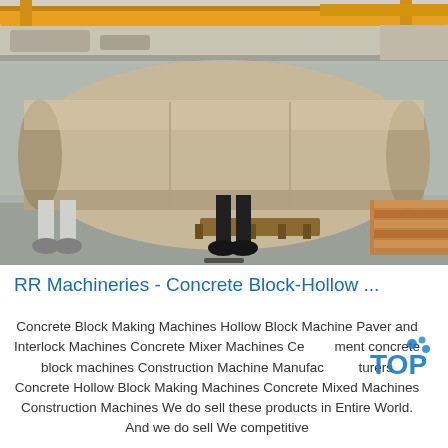[Figure (photo): Industrial factory interior showing two workers standing next to a large cylindrical metal drum/roller on a pallet. Yellow overhead crane visible in background. Concrete floor, steel structure factory setting.]
RR Machineries - Concrete Block-Hollow ...
Concrete Block Making Machines Hollow Block Machine Paver and Interlock Machines Concrete Mixer Machines Cement concrete block machines Construction Machine Manufacturers Concrete Hollow Block Making Machines Concrete Mixed Machines Construction Machines We do sell these products in Entire World. And we do sell We competitive all Over the World...